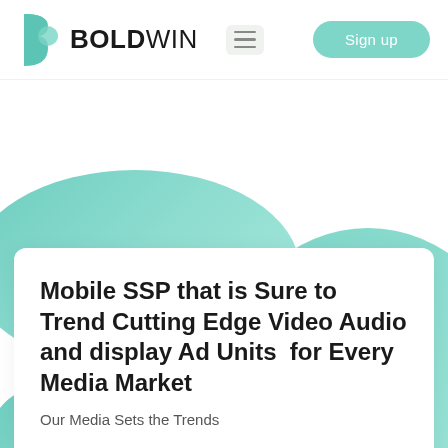BOLDWIN — Sign up
Mobile SSP that is Sure to Trend Cutting Edge Video Audio and display Ad Units  for Every Media Market
Our Media Sets the Trends